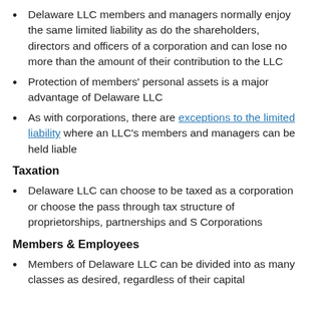Delaware LLC members and managers normally enjoy the same limited liability as do the shareholders, directors and officers of a corporation and can lose no more than the amount of their contribution to the LLC
Protection of members' personal assets is a major advantage of Delaware LLC
As with corporations, there are exceptions to the limited liability where an LLC's members and managers can be held liable
Taxation
Delaware LLC can choose to be taxed as a corporation or choose the pass through tax structure of proprietorships, partnerships and S Corporations
Members & Employees
Members of Delaware LLC can be divided into as many classes as desired, regardless of their capital